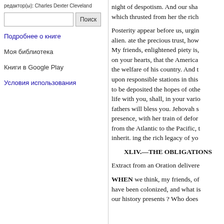редактор(ы): Charles Dexter Cleveland
Поиск
Подробнее о книге
Моя библиотека
Книги в Google Play
Условия использования
night of despotism. And our shar which thrusted from her the rich Posterity appear before us, urgin alien. ate the precious trust, how My friends, enlightened piety is, on your hearts, that the America the welfare of his country. And t upon responsible stations in this to be deposited the hopes of othe life with you, shall, in your vario fathers will bless you. Jehovah s presence, with her train of deform from the Atlantic to the Pacific, t inherit. ing the rich legacy of you
XLIV.—THE OBLIGATIONS
Extract from an Oration delivere
WHEN we think, my friends, of have been colonized, and what is our history presents ? Who does